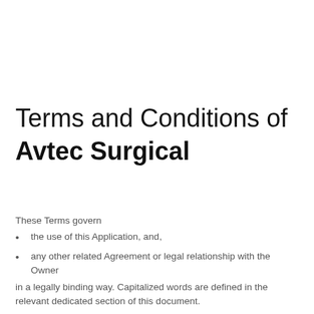Terms and Conditions of Avtec Surgical
These Terms govern
the use of this Application, and,
any other related Agreement or legal relationship with the Owner
in a legally binding way. Capitalized words are defined in the relevant dedicated section of this document.